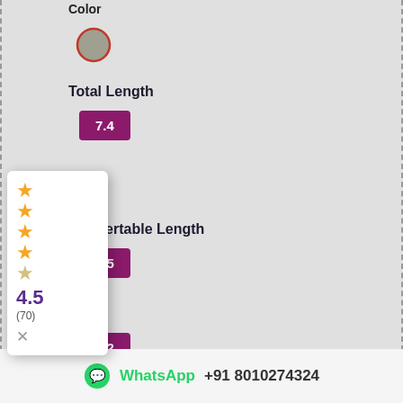Color
[Figure (other): Grey circular color swatch with red border]
Total Length
7.4
[Figure (other): Rating popup showing 4.5 stars out of 5, (70) reviews, with close button]
Insertable Length
3.5
ia
3.2
₹8,549.05  ₹8,999.00  -5%
— 1 +  ADD TO CART
WhatsApp +91 8010274324